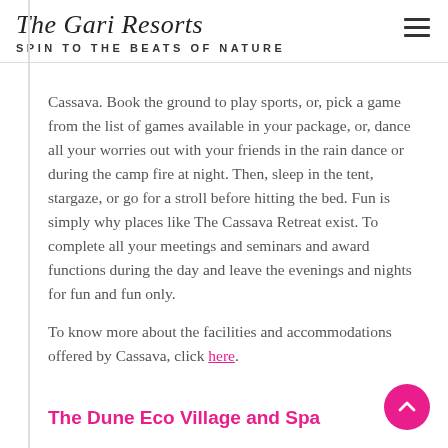The Gari Resorts — SPIN TO THE BEATS OF NATURE
Cassava. Book the ground to play sports, or, pick a game from the list of games available in your package, or, dance all your worries out with your friends in the rain dance or during the camp fire at night. Then, sleep in the tent, stargaze, or go for a stroll before hitting the bed. Fun is simply why places like The Cassava Retreat exist. To complete all your meetings and seminars and award functions during the day and leave the evenings and nights for fun and fun only.
To know more about the facilities and accommodations offered by Cassava, click here.
The Dune Eco Village and Spa